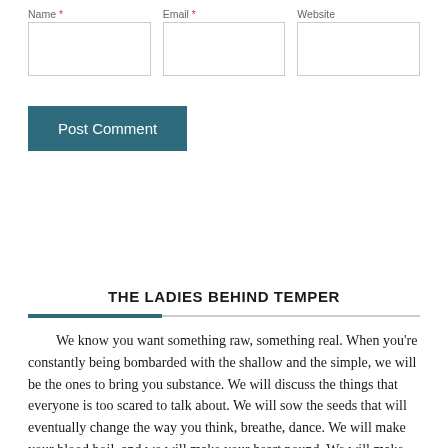Name * | Email * | Website
[Figure (screenshot): Form fields: Name (required), Email (required), Website — each with a rectangular input box]
Post Comment
THE LADIES BEHIND TEMPER
We know you want something raw, something real. When you're constantly being bombarded with the shallow and the simple, we will be the ones to bring you substance. We will discuss the things that everyone is too scared to talk about. We will sow the seeds that will eventually change the way you think, breathe, dance. We will make your blood boil, and we will make your heart pound. We will make sure you don't get stuck in the